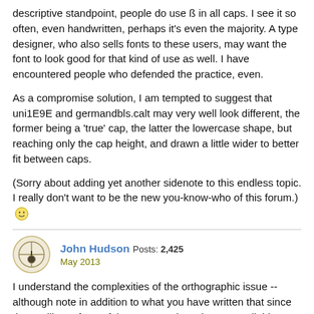descriptive standpoint, people do use ß in all caps. I see it so often, even handwritten, perhaps it's even the majority. A type designer, who also sells fonts to these users, may want the font to look good for that kind of use as well. I have encountered people who defended the practice, even.
As a compromise solution, I am tempted to suggest that uni1E9E and germandbls.calt may very well look different, the former being a 'true' cap, the latter the lowercase shape, but reaching only the cap height, and drawn a little wider to better fit between caps.
(Sorry about adding yet another sidenote to this endless topic. I really don't want to be the new you-know-who of this forum.) 🙂
John Hudson Posts: 2,425
May 2013
I understand the complexities of the orthographic issue -- although note in addition to what you have written that since the spelling reform of the 1990s ss is no longer a reliable acceptable substitute for ß in German orthography, since the two are now used